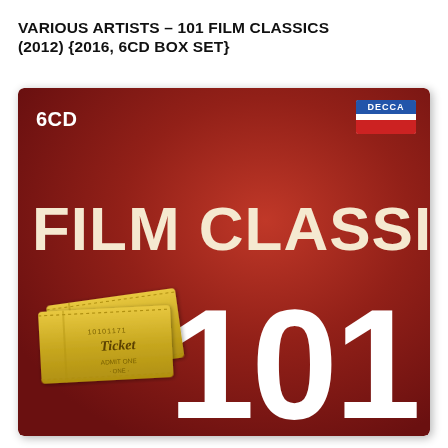VARIOUS ARTISTS – 101 FILM CLASSICS (2012) {2016, 6CD BOX SET}
[Figure (photo): Album cover for '101 Film Classics' box set on Decca label. Dark red/maroon background with '6CD' in white top-left, Decca logo badge top-right, large text 'FILM CLASSICS' in cream/gold, large white '101' numeral, and a golden movie ticket illustration in the lower-left.]